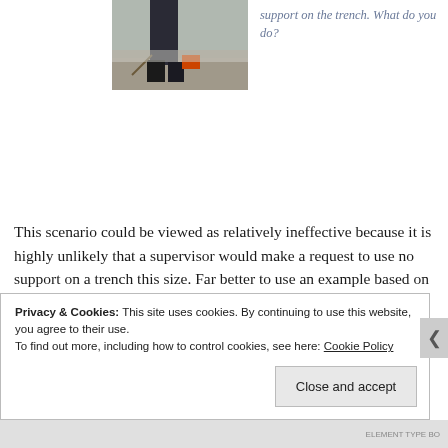[Figure (photo): Photo of a person's legs/boots standing near a trench with soil and gravel visible]
support on the trench. What do you do?
This scenario could be viewed as relatively ineffective because it is highly unlikely that a supervisor would make a request to use no support on a trench this size. Far better to use an example based on the choice of the type of support to illustrate the potential issues and learning point of time versus risk.
Privacy & Cookies: This site uses cookies. By continuing to use this website, you agree to their use.
To find out more, including how to control cookies, see here: Cookie Policy